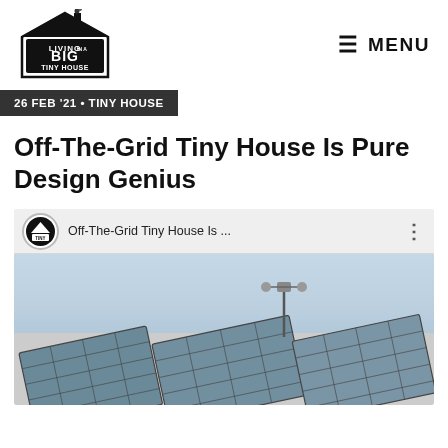[Figure (logo): Living Big in a Tiny House logo — stylized house illustration with text]
MENU
26 FEB '21 • TINY HOUSE
Off-The-Grid Tiny House Is Pure Design Genius
[Figure (screenshot): YouTube video embed showing 'Off-The-Grid Tiny House Is...' with solar panels photo thumbnail]